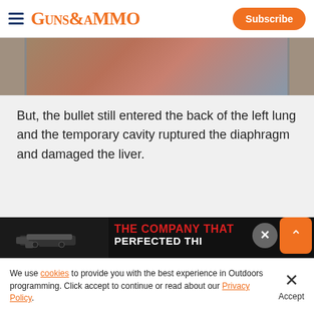GUNS&AMMO — Subscribe
[Figure (photo): Partial view of a hunting/shooting related image at top of article]
But, the bullet still entered the back of the left lung and the temporary cavity ruptured the diaphragm and damaged the liver.
[Figure (photo): Graphic hunting photo showing animal organs/tissue on ground, with advertisement overlay showing handgun and text 'THE COMPANY THAT PERFECTED THI...']
We use cookies to provide you with the best experience in Outdoors programming. Click accept to continue or read about our Privacy Policy.